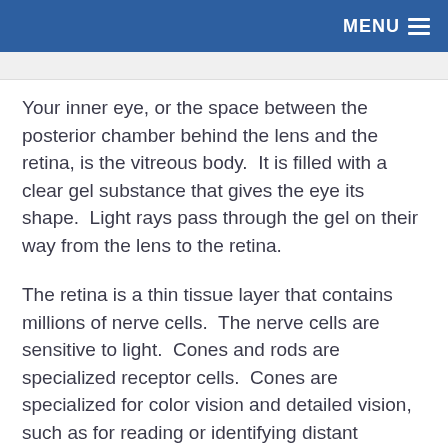MENU
Your inner eye, or the space between the posterior chamber behind the lens and the retina, is the vitreous body.  It is filled with a clear gel substance that gives the eye its shape.  Light rays pass through the gel on their way from the lens to the retina.
The retina is a thin tissue layer that contains millions of nerve cells.  The nerve cells are sensitive to light.  Cones and rods are specialized receptor cells.  Cones are specialized for color vision and detailed vision, such as for reading or identifying distant objects.  Rods perceive blacks, whites, and grays, but not colors.  They